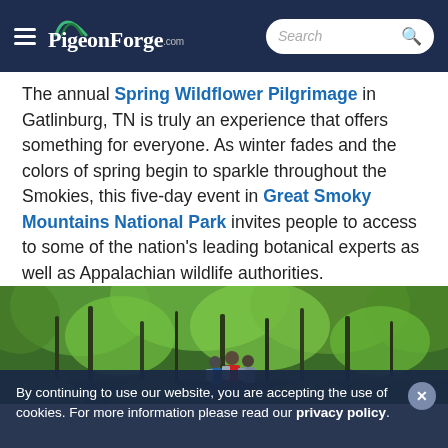PigeonForge.com — Search bar with hamburger menu
The annual Spring Wildflower Pilgrimage in Gatlinburg, TN is truly an experience that offers something for everyone. As winter fades and the colors of spring begin to sparkle throughout the Smokies, this five-day event in Great Smoky Mountains National Park invites people to access to some of the nation's leading botanical experts as well as Appalachian wildlife authorities.
[Figure (photo): People hiking through a lush green forest in Great Smoky Mountains National Park, viewed from behind, with tall trees and dense green foliage.]
By continuing to use our website, you are accepting the use of cookies. For more information please read our privacy policy.